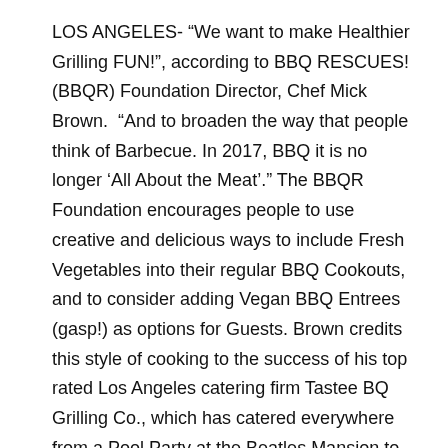LOS ANGELES- “We want to make Healthier Grilling FUN!”, according to BBQ RESCUES! (BBQR) Foundation Director, Chef Mick Brown.  “And to broaden the way that people think of Barbecue. In 2017, BBQ it is no longer ‘All About the Meat’.” The BBQR Foundation encourages people to use creative and delicious ways to include Fresh Vegetables into their regular BBQ Cookouts, and to consider adding Vegan BBQ Entrees (gasp!) as options for Guests. Brown credits this style of cooking to the success of his top rated Los Angeles catering firm Tastee BQ Grilling Co., which has catered everywhere from a Pool Party at the Beatles Mansion to the Katie and Tom Engagement Party on the Season Finale episode of “Vanderpump Rules” (Bravo TV) in 2016. The event was filmed at Lisa Vanderpump and